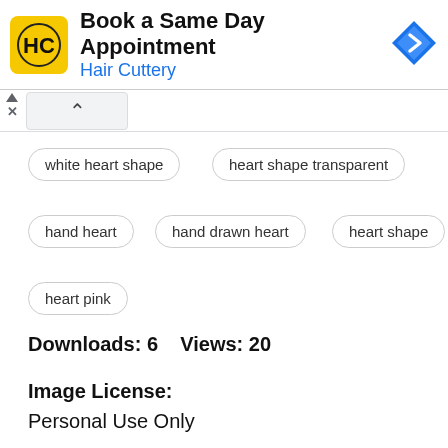[Figure (logo): Hair Cuttery advertisement banner with HC logo, 'Book a Same Day Appointment' text, 'Hair Cuttery' subtitle in blue, and a navigation arrow icon]
white heart shape
heart shape transparent
hand heart
hand drawn heart
heart shape
heart pink
Downloads: 6    Views: 20
Image License:
Personal Use Only